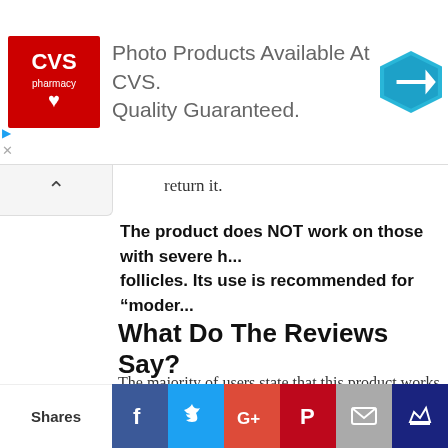[Figure (other): CVS Pharmacy advertisement banner: CVS pharmacy logo on red background, text 'Photo Products Available At CVS. Quality Guaranteed.', blue diamond navigation arrow icon on right]
return it.
The product does NOT work on those with severe h... follicles. Its use is recommended for “moder...
What Do The Reviews Say?
The majority of users state that this product works, and some... faster than the stated time period. There are also some peop... addition to their Rogaine or other Minoxidil Topical Solution p... reviews have complained about the inconvenience of its use... stroking your hair for the recommended period of time. If you... reviews have been added, or to check out the latest prices, pl...
[Figure (other): Social share bar with icons: Shares label, Facebook (blue), Twitter (light blue), Google+ (red-orange), Pinterest (dark red), Email (grey), Crown/bookmark icon (dark blue)]